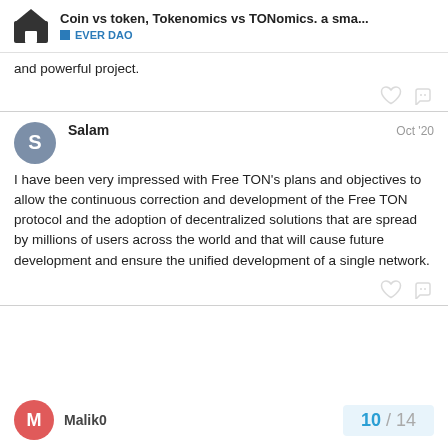Coin vs token, Tokenomics vs TONomics. a sma... | EVER DAO
and powerful project.
Salam  Oct '20
I have been very impressed with Free TON's plans and objectives to allow the continuous correction and development of the Free TON protocol and the adoption of decentralized solutions that are spread by millions of users across the world and that will cause future development and ensure the unified development of a single network.
Malik0  10 / 14